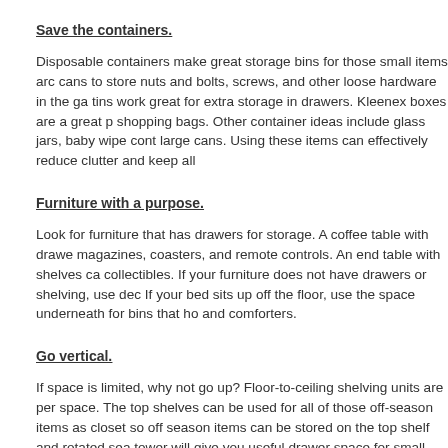Save the containers.
Disposable containers make great storage bins for those small items aro cans to store nuts and bolts, screws, and other loose hardware in the ga tins work great for extra storage in drawers. Kleenex boxes are a great p shopping bags. Other container ideas include glass jars, baby wipe cont large cans. Using these items can effectively reduce clutter and keep all
Furniture with a purpose.
Look for furniture that has drawers for storage. A coffee table with drawe magazines, coasters, and remote controls. An end table with shelves ca collectibles. If your furniture does not have drawers or shelving, use dec If your bed sits up off the floor, use the space underneath for bins that ho and comforters.
Go vertical.
If space is limited, why not go up? Floor-to-ceiling shelving units are per space. The top shelves can be used for all of those off-season items as closet so off season items can be stored on the top shelf and rotated sea tower will give you useful drawer space for small items.  Contact us for a we will give you ideas to maximize your space!
One final note on home organization, maximize every space in your hom